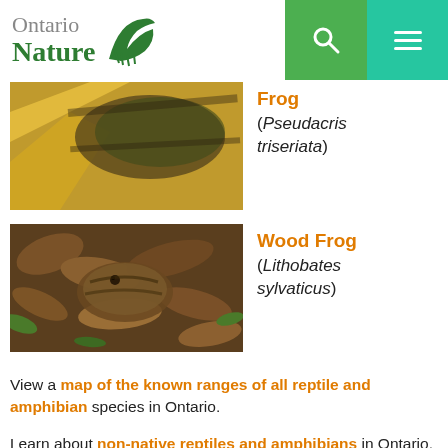[Figure (logo): Ontario Nature logo with green bird silhouette]
[Figure (photo): Close-up photo of a Western Chorus Frog on yellow/brown background]
Frog (Pseudacris triseriata)
[Figure (photo): Photo of a Wood Frog camouflaged among brown leaves]
Wood Frog (Lithobates sylvaticus)
View a map of the known ranges of all reptile and amphibian species in Ontario.
Learn about non-native reptiles and amphibians in Ontario.
* Last updated March 2022